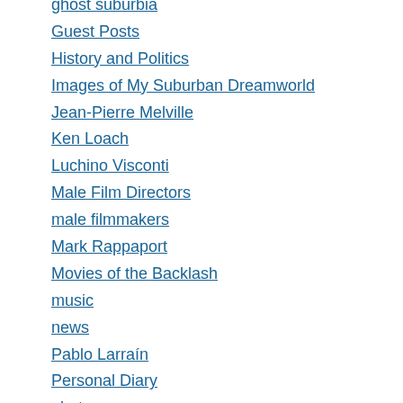ghost suburbia
Guest Posts
History and Politics
Images of My Suburban Dreamworld
Jean-Pierre Melville
Ken Loach
Luchino Visconti
Male Film Directors
male filmmakers
Mark Rappaport
Movies of the Backlash
music
news
Pablo Larraín
Personal Diary
photos
poetry
Racist and Nazi Propaganda
Radio Without Money Podcast